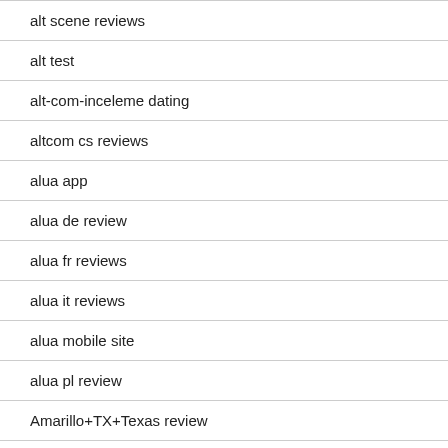alt scene reviews
alt test
alt-com-inceleme dating
altcom cs reviews
alua app
alua de review
alua fr reviews
alua it reviews
alua mobile site
alua pl review
Amarillo+TX+Texas review